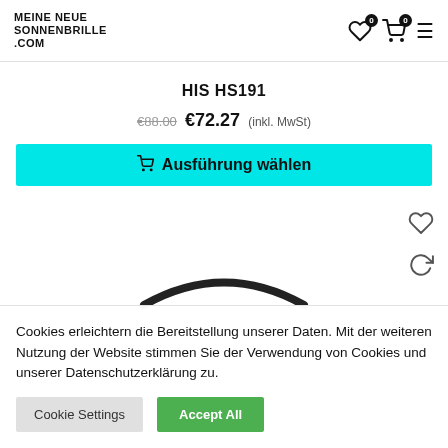MEINE NEUE SONNENBRILLE .COM
HIS HS191
€88.00 €72.27 (inkl. MwSt)
Ausführung wählen
[Figure (photo): Top portion of sunglasses frame visible at bottom of product image area]
Cookies erleichtern die Bereitstellung unserer Daten. Mit der weiteren Nutzung der Website stimmen Sie der Verwendung von Cookies und unserer Datenschutzerklärung zu.
Cookie Settings  Accept All